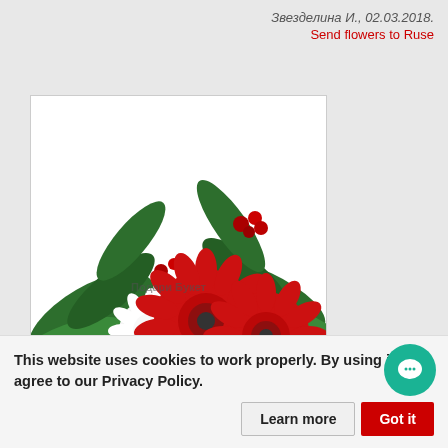Звезделина И., 02.03.2018.
Send flowers to Ruse
[Figure (photo): A festive flower arrangement with red gerberas, red roses, white chrysanthemums, decorative red apples, pine cones, red berries, and green fir branches, with a watermark text 'Подари Букет' overlaid.]
This website uses cookies to work properly. By using it you agree to our Privacy Policy.